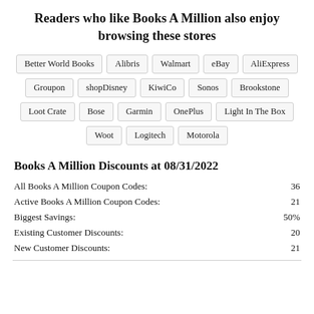Readers who like Books A Million also enjoy browsing these stores
Better World Books | Alibris | Walmart | eBay | AliExpress | Groupon | shopDisney | KiwiCo | Sonos | Brookstone | Loot Crate | Bose | Garmin | OnePlus | Light In The Box | Woot | Logitech | Motorola
Books A Million Discounts at 08/31/2022
|  |  |
| --- | --- |
| All Books A Million Coupon Codes: | 36 |
| Active Books A Million Coupon Codes: | 21 |
| Biggest Savings: | 50% |
| Existing Customer Discounts: | 20 |
| New Customer Discounts: | 21 |